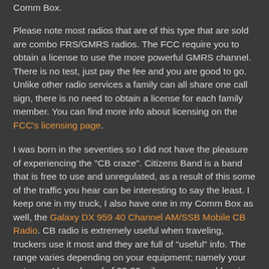Comm Box.
Please note most radios that are of this type that are sold are combo FRS/GMRS radios. The FCC require you to obtain a license to use the more powerful GMRS channel. There is no test, just pay the fee and you are good to go. Unlike other radio services a family can all share one call sign, there is no need to obtain a license for each family member. You can find more info about licensing on the FCC's licensing page.
I was born in the seventies so I did not have the pleasure of experiencing the "CB craze". Citizens Band is a band that is free to use and unregulated, as a result of this some of the traffic you hear can be interesting to say the least. I keep one in my truck, I also have one in my Comm Box as well, the Galaxy DX 959 40 Channel AM/SSB Mobile CB Radio. CB radio is extremely useful when traveling, truckers use it most and they are full of "useful" info. The range varies depending on your equipment; namely your antenna. I have heard of 20-30 mile range no problem is you have an extremely high quality antenna. CB is definitely worth checking out as the equipment can be cheap and there is not licensing or even